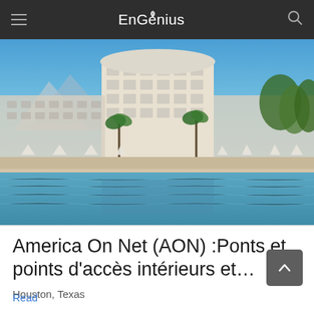EnGenius
[Figure (photo): Luxury hotel resort with large swimming pool in the foreground, white multi-story hotel building in center, palm trees, poolside umbrellas and lounge chairs, mountains in background, blue sky]
America On Net (AON) :Ponts et points d'accès intérieurs et...
Houston, Texas